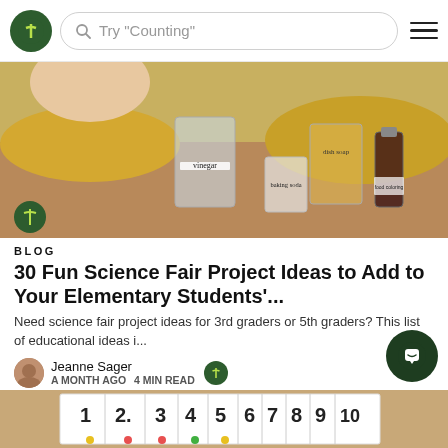Try "Counting"
[Figure (photo): Science experiment supplies on a table: glasses labeled vinegar, dish soap, baking soda, and a small bottle; sand piles in background; child's face partially visible]
BLOG
30 Fun Science Fair Project Ideas to Add to Your Elementary Students'...
Need science fair project ideas for 3rd graders or 5th graders? This list of educational ideas i...
Jeanne Sager
A MONTH AGO   4 MIN READ
Grades: 1 – 6
[Figure (photo): Corkboard with numbered cards 1 through 10 and colored dots below each number]